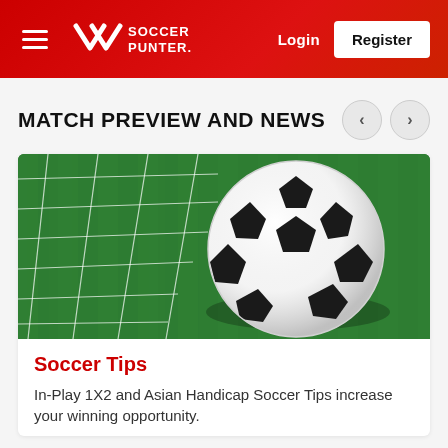Soccer Punter — Login | Register
MATCH PREVIEW AND NEWS
[Figure (photo): Soccer ball in a goal net on green grass field, close-up shot]
Soccer Tips
In-Play 1X2 and Asian Handicap Soccer Tips increase your winning opportunity.